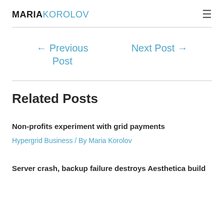MARIAKOROLOV
← Previous Post
Next Post →
Related Posts
Non-profits experiment with grid payments
Hypergrid Business / By Maria Korolov
Server crash, backup failure destroys Aesthetica build